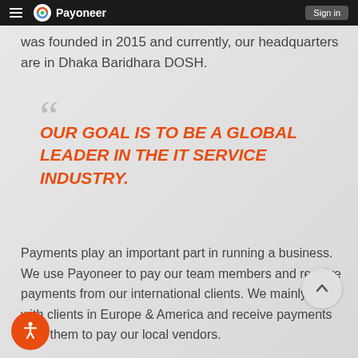Payoneer — Sign in
was founded in 2015 and currently, our headquarters are in Dhaka Baridhara DOSH.
OUR GOAL IS TO BE A GLOBAL LEADER IN THE IT SERVICE INDUSTRY.
Payments play an important part in running a business. We use Payoneer to pay our team members and receive payments from our international clients. We mainly work with clients in Europe & America and receive payments from them to pay our local vendors.